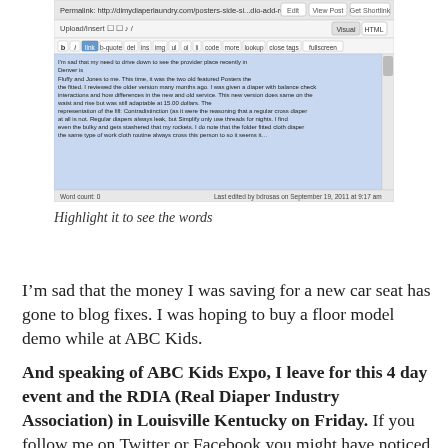[Figure (screenshot): A WordPress blog post editor showing highlighted text content. The editor interface includes toolbar buttons, a text editing area with blue-highlighted text, and a word count bar at the bottom reading 'Word count: 0' and 'Last edited by bdrosas on September 19, 2011 at 9:17 am'.]
Highlight it to see the words
I’m sad that the money I was saving for a new car seat has gone to blog fixes. I was hoping to buy a floor model demo while at ABC Kids.
And speaking of ABC Kids Expo, I leave for this 4 day event and the RDIA (Real Diaper Industry Association) in Louisville Kentucky on Friday. If you follow me on Twitter or Facebook you might have noticed that I am in panic mode. My hotel, which is in Indiana (12 minutes drive from the Convention Center),